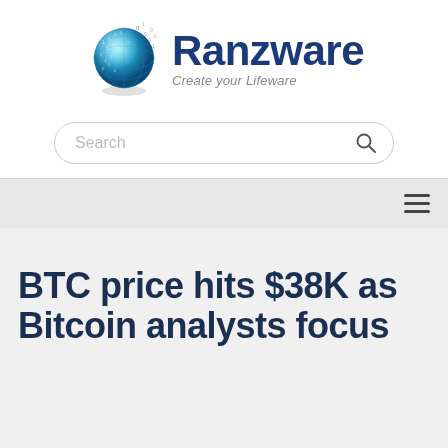[Figure (logo): Ranzware logo: blue digital globe with binary digits and bold navy text 'Ranzware' with tagline 'Create your Lifeware']
[Figure (screenshot): Search bar with placeholder text 'Search' and a magnifying glass icon on the right, rounded rectangle style]
[Figure (infographic): Navigation bar with hamburger menu icon (three horizontal lines) on the right]
BTC price hits $38K as Bitcoin analysts focus